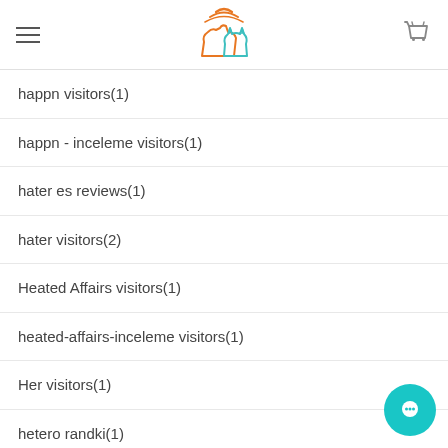Sweetpel logo, hamburger menu, cart icon
happn visitors(1)
happn - inceleme visitors(1)
hater es reviews(1)
hater visitors(2)
Heated Affairs visitors(1)
heated-affairs-inceleme visitors(1)
Her visitors(1)
hetero randki(1)
Heterosexual Dating Hookup(1)
hi5 it review(1)